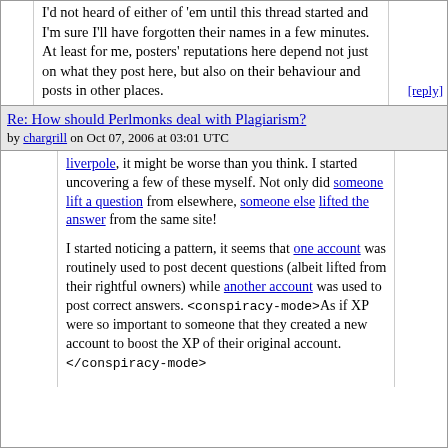I'd not heard of either of 'em until this thread started and I'm sure I'll have forgotten their names in a few minutes. At least for me, posters' reputations here depend not just on what they post here, but also on their behaviour and posts in other places.
Re: How should Perlmonks deal with Plagiarism? by chargrill on Oct 07, 2006 at 03:01 UTC
liverpole, it might be worse than you think. I started uncovering a few of these myself. Not only did someone lift a question from elsewhere, someone else lifted the answer from the same site!

I started noticing a pattern, it seems that one account was routinely used to post decent questions (albeit lifted from their rightful owners) while another account was used to post correct answers. <conspiracy-mode>As if XP were so important to someone that they created a new account to boost the XP of their original account.</conspiracy-mode>